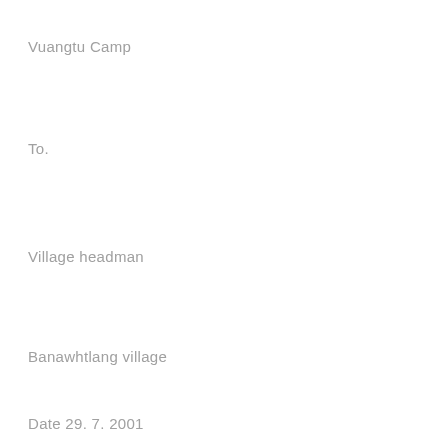Vuangtu Camp
To.
Village headman
Banawhtlang village
Date 29. 7. 2001